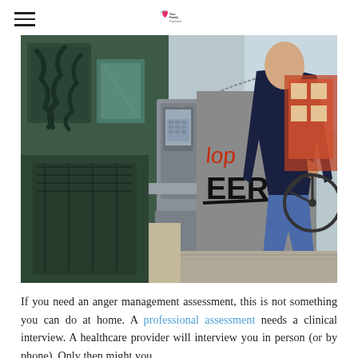[hamburger menu icon] [logo: Your Family Psychiatrist]
[Figure (photo): A person in blue jeans, dark hoodie, and white sneakers standing at an outdoor public payphone with graffiti on a metal panel behind them. An ornate green building facade is visible on the left and a bicycle on the right.]
If you need an anger management assessment, this is not something you can do at home. A professional assessment needs a clinical interview. A healthcare provider will interview you in person (or by phone). Only then might you